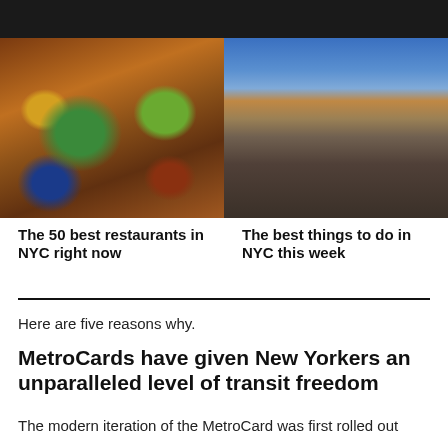[Figure (photo): Overhead shot of colorful Mexican food dishes including bowls of salsa, a green salad, and clay pots of food on a wooden table]
[Figure (photo): Outdoor rooftop movie screening with a large crowd of people sitting on blankets under a dramatic cloudy sky at sunset]
The 50 best restaurants in NYC right now
The best things to do in NYC this week
Here are five reasons why.
MetroCards have given New Yorkers an unparalleled level of transit freedom
The modern iteration of the MetroCard was first rolled out